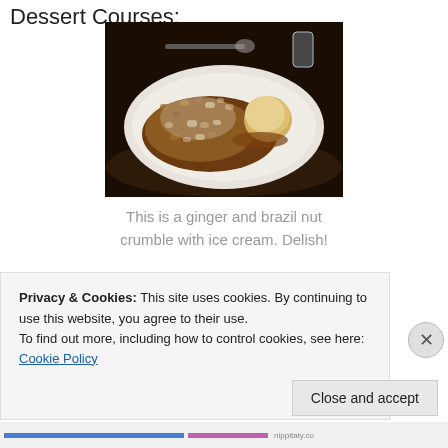Dessert Courses:
[Figure (photo): A ginger and brazil nut crumble with ice cream served in a white oval dish on a dark background]
This is a ginger and brazil nut crumble with ice cream. Delish!
[Figure (photo): Partial view of a second dessert dish]
Privacy & Cookies: This site uses cookies. By continuing to use this website, you agree to their use.
To find out more, including how to control cookies, see here: Cookie Policy
Close and accept